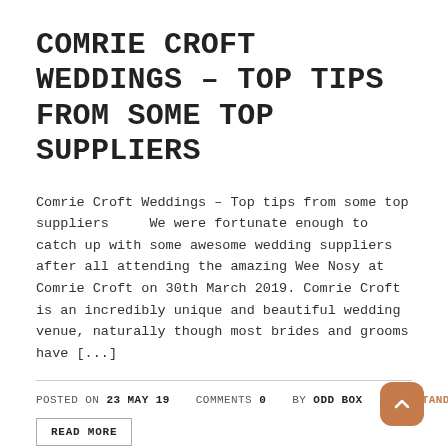COMRIE CROFT WEDDINGS – TOP TIPS FROM SOME TOP SUPPLIERS
Comrie Croft Weddings – Top tips from some top suppliers     We were fortunate enough to catch up with some awesome wedding suppliers after all attending the amazing Wee Nosy at Comrie Croft on 30th March 2019. Comrie Croft is an incredibly unique and beautiful wedding venue, naturally though most brides and grooms have [...]
POSTED ON 23 MAY 19   COMMENTS 0   BY ODD BOX   STANDARD
READ MORE